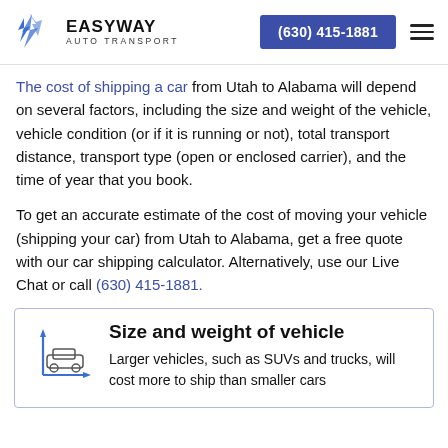EASYWAY AUTO TRANSPORT — (630) 415-1881
The cost of shipping a car from Utah to Alabama will depend on several factors, including the size and weight of the vehicle, vehicle condition (or if it is running or not), total transport distance, transport type (open or enclosed carrier), and the time of year that you book.
To get an accurate estimate of the cost of moving your vehicle (shipping your car) from Utah to Alabama, get a free quote with our car shipping calculator. Alternatively, use our Live Chat or call (630) 415-1881.
Size and weight of vehicle
Larger vehicles, such as SUVs and trucks, will cost more to ship than smaller cars